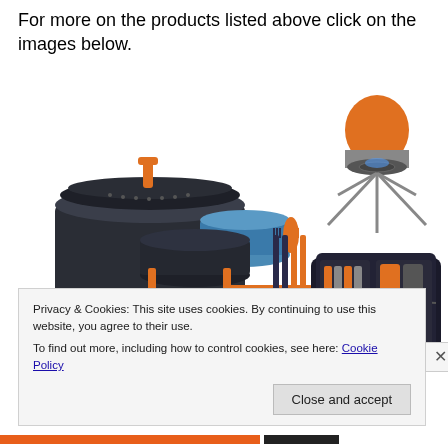For more on the products listed above click on the images below.
[Figure (photo): Camping cookware set with dark pots, orange folding handle, blue bowl, and orange/blue utensils]
[Figure (photo): Compact camping stove with orange canister and folding legs]
[Figure (photo): Open travel kit case with orange-handled tools and small bottles]
[Figure (photo): Small black camera lens attachment]
[Figure (photo): Small black circular camping item]
Privacy & Cookies: This site uses cookies. By continuing to use this website, you agree to their use.
To find out more, including how to control cookies, see here: Cookie Policy